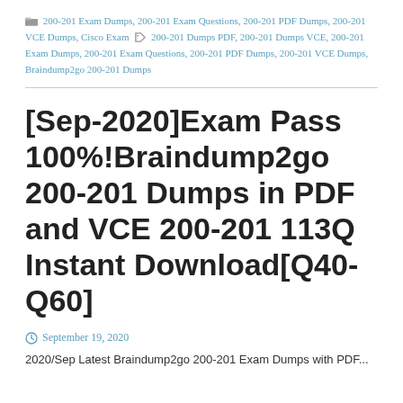200-201 Exam Dumps, 200-201 Exam Questions, 200-201 PDF Dumps, 200-201 VCE Dumps, Cisco Exam  200-201 Dumps PDF, 200-201 Dumps VCE, 200-201 Exam Dumps, 200-201 Exam Questions, 200-201 PDF Dumps, 200-201 VCE Dumps, Braindump2go 200-201 Dumps
[Sep-2020]Exam Pass 100%!Braindump2go 200-201 Dumps in PDF and VCE 200-201 113Q Instant Download[Q40-Q60]
September 19, 2020
2020/Sep Latest Braindump2go 200-201 Exam Dumps with PDF...